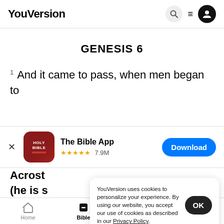YouVersion
GENESIS 6
1 And it came to pass, when men began to
[Figure (screenshot): The Bible App download banner with app icon (HOLY BIBLE), 5 stars, 7.9M ratings, and Download button]
Acrost (he is s
YouVersion uses cookies to personalize your experience. By using our website, you accept our use of cookies as described in our Privacy Policy.
Home  Bible  Plans  Videos